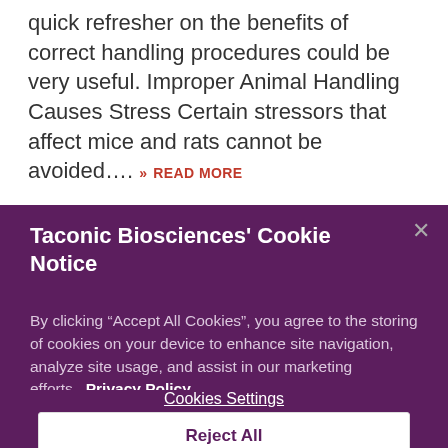quick refresher on the benefits of correct handling procedures could be very useful. Improper Animal Handling Causes Stress Certain stressors that affect mice and rats cannot be avoided.... » READ MORE
Taconic Biosciences' Cookie Notice
By clicking "Accept All Cookies", you agree to the storing of cookies on your device to enhance site navigation, analyze site usage, and assist in our marketing efforts. Privacy Policy
Cookies Settings
Reject All
Accept All Cookies